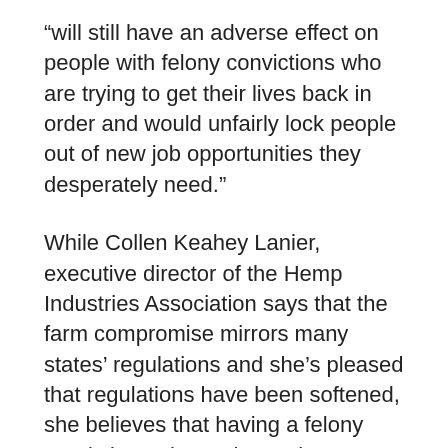“will still have an adverse effect on people with felony convictions who are trying to get their lives back in order and would unfairly lock people out of new job opportunities they desperately need.”
While Collen Keahey Lanier, executive director of the Hemp Industries Association says that the farm compromise mirrors many states’ regulations and she’s pleased that regulations have been softened, she believes that having a felony restriction only continues the longstanding, unfair discrimination against hemp.
“It’s still an unfortunate and unnecessary prohibitionist approach that I wish would be